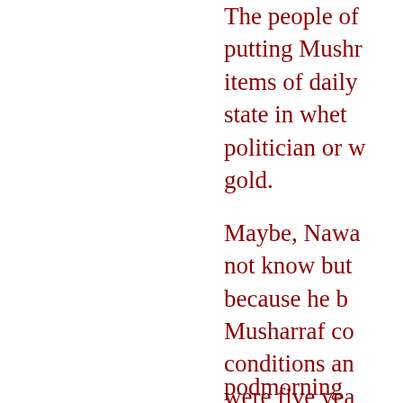The people of putting Musharraf items of daily state in whether politician or w gold.
Maybe, Nawa not know but because he b Musharraf co conditions an were five yea N candidates them convict skeletons of t However, the and sugar go
podmorning